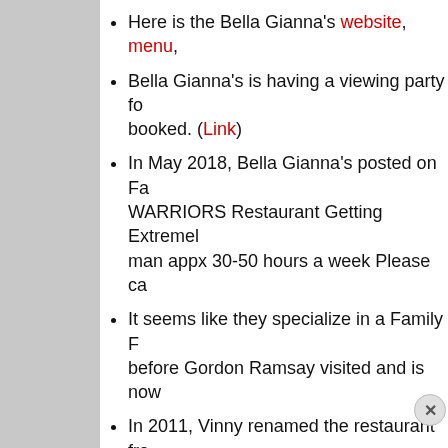Here is the Bella Gianna's website, menu,
Bella Gianna's is having a viewing party for... booked. (Link)
In May 2018, Bella Gianna's posted on Fa... WARRIORS Restaurant Getting Extremely... man appx 30-50 hours a week Please ca...
It seems like they specialize in a Family F... before Gordon Ramsay visited and is now...
In 2011, Vinny renamed the restaurant fro... made it more casual.
A local article said after the makeover tha... room is more modern with fresh paint, new... pans chandelier. The menu also has a foo... Vasti also said he's planning on doing mo... and landscaping.
Bella Gianna's has great reviews online w... reviews), 4.8 out of 5 stars on Facebook ...